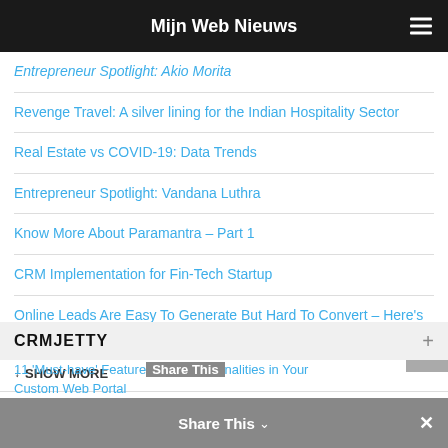Mijn Web Nieuws
Entrepreneur Spotlight: Akio Morita
Revenge Travel: A silver lining for the Indian Hospitality Sector
Real Estate vs COVID-19: Data Trends
Entrepreneur Spotlight: Vandana Luthra
Know More About Paramantra – Part 1
CRM Implementation for Fin-Tech Startup
Online Leads Are Easy To Generate But Hard To Convert – Here's Why
↓ SHOW MORE
CRMJETTY
11 'Must-have' Features Share This nalities in Your Custom Web Portal